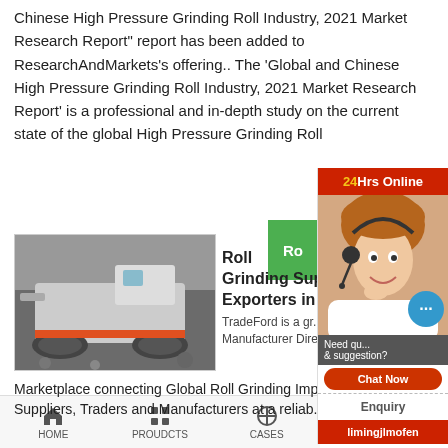Chinese High Pressure Grinding Roll Industry, 2021 Market Research Report" report has been added to ResearchAndMarkets's offering.. The 'Global and Chinese High Pressure Grinding Roll Industry, 2021 Market Research Report' is a professional and in-depth study on the current state of the global High Pressure Grinding Roll
[Figure (screenshot): 24Hrs Online sidebar with customer service representative photo, chat bubble, Need question & suggestion, Chat Now button, Enquiry link, limingjlmofen button]
[Figure (photo): Industrial grinding/crushing machine photographed outdoors]
[Figure (screenshot): Green box with 'Ro' text partially visible]
Roll Grinding Suppliers Exporters in
TradeFord is a gr... Manufacturer Dire... Marketplace connecting Global Roll Grinding Impo... Suppliers, Traders and Manufacturers at a reliable
HOME   PROUDCTS   CASES   limingjlmofen